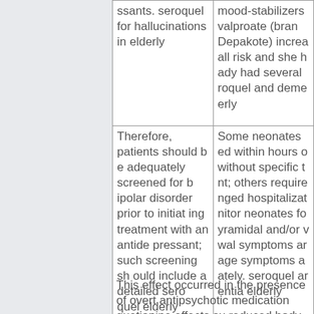| ssants. seroquel for hallucinations in elderly | mood-stabilizers valproate (brand Depakote) increall risk and she hady had several roquel and demerly |
| Therefore, patients should be adequately screened for bipolar disorder prior to initiating treatment with an antidepressant; such screening should include a detailed seroquel elderly dementia mayo clinic history (e. | Some neonates ed within hours o without specific t nt; others require nged hospitalizat nitor neonates fo yramidal and/or v wal symptoms ar age symptoms a ately. seroquel ar entia elderly |
This effect occurred in the presence of overt antipsychotic medication quetiapine effects su reduced body weight gain. These effects were